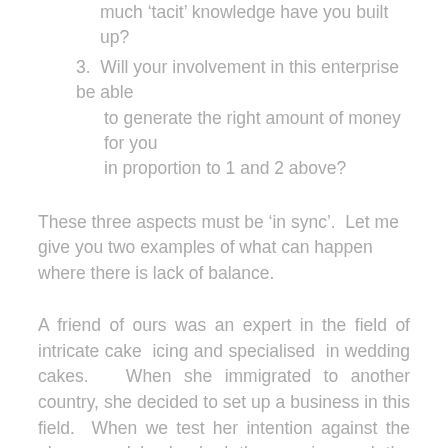much 'tacit' knowledge have you built up?
3. Will your involvement in this enterprise be able to generate the right amount of money for you in proportion to 1 and 2 above?
These three aspects must be 'in sync'. Let me give you two examples of what can happen where there is lack of balance.
A friend of ours was an expert in the field of intricate cake icing and specialised in wedding cakes. When she immigrated to another country, she decided to set up a business in this field. When we test her intention against the above model, she had the passion and the skills and experience. However, number 3 was lacking. The hours taken to craft the icing were out of